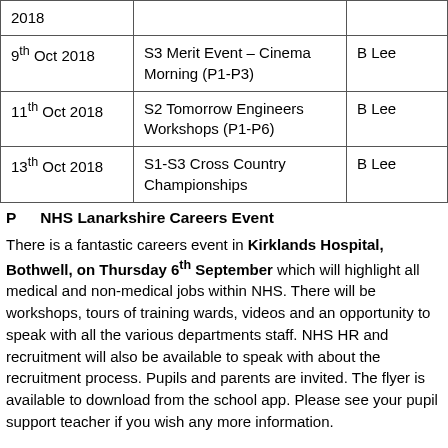| 2018 |  |  |
| 9th Oct 2018 | S3 Merit Event – Cinema Morning (P1-P3) | B Lee |
| 11th Oct 2018 | S2 Tomorrow Engineers Workshops (P1-P6) | B Lee |
| 13th Oct 2018 | S1-S3 Cross Country Championships | B Lee |
P  NHS Lanarkshire Careers Event
There is a fantastic careers event in Kirklands Hospital, Bothwell, on Thursday 6th September which will highlight all medical and non-medical jobs within NHS. There will be workshops, tours of training wards, videos and an opportunity to speak with all the various departments staff. NHS HR and recruitment will also be available to speak with about the recruitment process. Pupils and parents are invited. The flyer is available to download from the school app. Please see your pupil support teacher if you wish any more information.